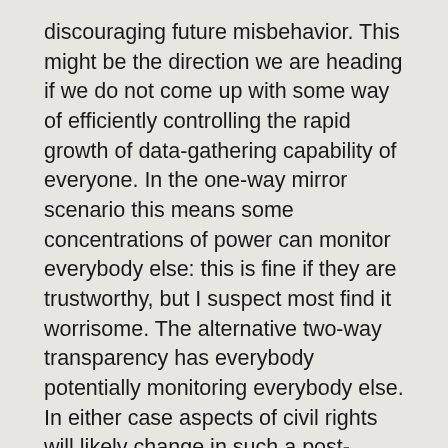discouraging future misbehavior. This might be the direction we are heading if we do not come up with some way of efficiently controlling the rapid growth of data-gathering capability of everyone. In the one-way mirror scenario this means some concentrations of power can monitor everybody else: this is fine if they are trustworthy, but I suspect most find it worrisome. The alternative two-way transparency has everybody potentially monitoring everybody else. In either case aspects of civil rights will likely change in such a post-privacy society.
I doubt there are any neat principles or solutions to civil rights in a big data analytics world. Civil rights are changeable and will adapt together with technology – sometimes as a response to it, sometimes driving it, sometimes out of sheer rebellion. Big data is so useful that it will evolve beyond the current idea of a neat...